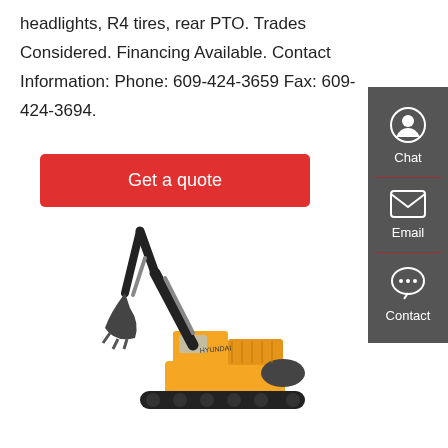headlights, R4 tires, rear PTO. Trades Considered. Financing Available. Contact Information: Phone: 609-424-3659 Fax: 609-424-3694.
Get a quote
[Figure (photo): A large yellow and black Hyundai excavator/crawler excavator with its arm raised, shown on a white background.]
Sany America Unveils First